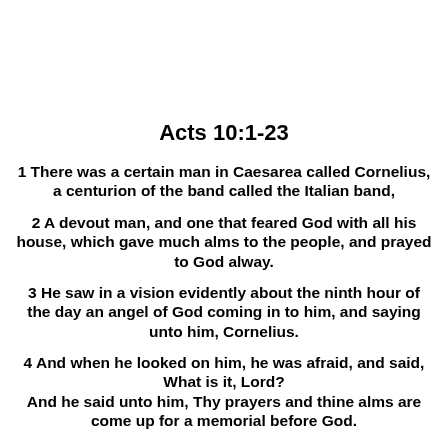Acts 10:1-23
1 There was a certain man in Caesarea called Cornelius, a centurion of the band called the Italian band,
2 A devout man, and one that feared God with all his house, which gave much alms to the people, and prayed to God alway.
3 He saw in a vision evidently about the ninth hour of the day an angel of God coming in to him, and saying unto him, Cornelius.
4 And when he looked on him, he was afraid, and said, What is it, Lord? And he said unto him, Thy prayers and thine alms are come up for a memorial before God.